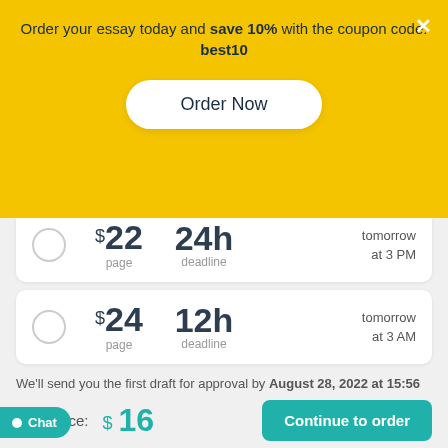Order your essay today and save 10% with the coupon code: best10
Order Now
$22 page  24h deadline  tomorrow at 3 PM
$24 page  12h deadline  tomorrow at 3 AM
We'll send you the first draft for approval by August 28, 2022 at 15:56 PM
Pages:
275 words
Total price: $16
Continue to order
Chat